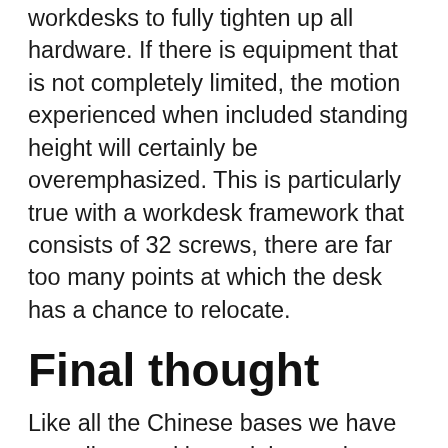workdesks to fully tighten up all hardware. If there is equipment that is not completely limited, the motion experienced when included standing height will certainly be overemphasized. This is particularly true with a workdesk framework that consists of 32 screws, there are far too many points at which the desk has a chance to relocate.
Final thought
Like all the Chinese bases we have actually tested in our labs, we have to tighten our recommendation on the StandDesk Pro to shorter users with narrower desktops, as the stability just isn't there for a huge mass raised high off the ground. American-made desks will certainly be better matched to